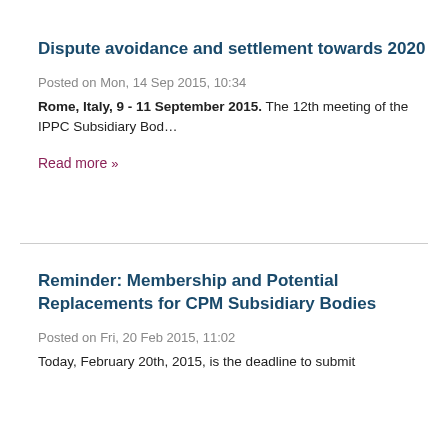Dispute avoidance and settlement towards 2020
Posted on Mon, 14 Sep 2015, 10:34
Rome, Italy, 9 - 11 September 2015. The 12th meeting of the IPPC Subsidiary Bod…
Read more »
Reminder: Membership and Potential Replacements for CPM Subsidiary Bodies
Posted on Fri, 20 Feb 2015, 11:02
Today, February 20th, 2015, is the deadline to submit